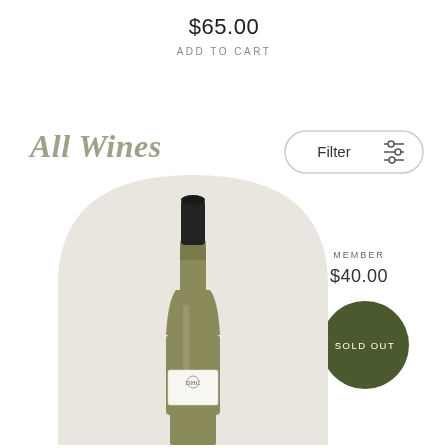$65.00
ADD TO CART
All Wines
[Figure (other): Filter button with slider icon, rounded pill shape]
MEMBER
$40.00
[Figure (other): Dark olive green circle badge with text SOLD OUT]
[Figure (photo): Wine bottle with black cap, olive/green glass body, white label with emblem, standing on white background inside an arch-shaped light beige backdrop]